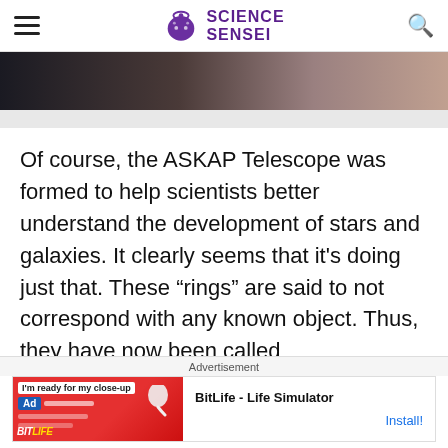Science Sensei
[Figure (photo): Partial view of a person with dark hair, dimly lit background]
Of course, the ASKAP Telescope was formed to help scientists better understand the development of stars and galaxies. It clearly seems that it's doing just that. These “rings” are said to not correspond with any known object. Thus, they have now been called
Advertisement
[Figure (screenshot): BitLife - Life Simulator advertisement banner with red background and sperm logo]